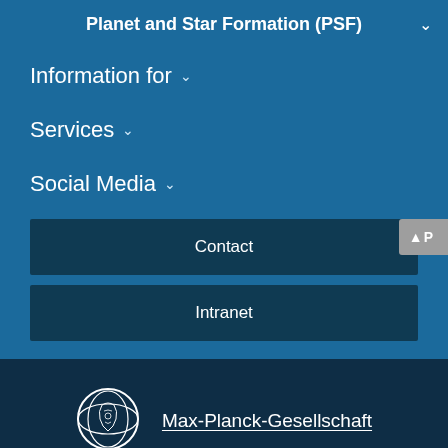Planet and Star Formation (PSF)
Information for
Services
Social Media
Contact
Intranet
Max-Planck-Gesellschaft
Sitemap   Imprint   Privacy Policy
© 2022, Max-Planck-Gesellschaft